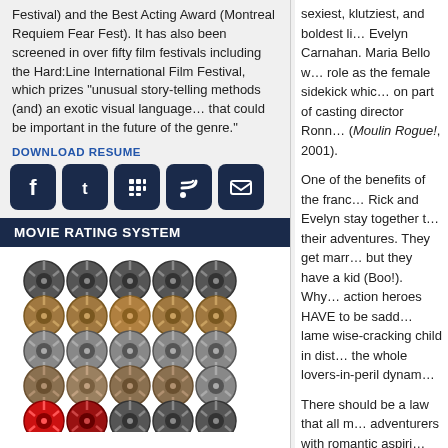Festival) and the Best Acting Award (Montreal Requiem Fear Fest). It has also been screened in over fifty film festivals including the Hard:Line International Film Festival, which prizes "unusual story-telling methods (and) an exotic visual language… that could be important in the future of the genre."
DOWNLOAD RESUME
[Figure (other): Social media icons: Facebook, Twitter, Blackberry/grid, RSS feed, Email - dark navy rounded square buttons]
MOVIE RATING SYSTEM
[Figure (other): 5x5 grid of film reel icons in various colors: row 1 dark gray, row 2 brown/tan, row 3 gray, row 4 brown/gray, row 5 red/dark]
[Figure (other): Font size demonstration: light gray AAA and dark navy AAA in increasing sizes]
LATEST ARTICLES
SOCKET (2016) – The Newly Restored Version
sexiest, klutziest, and boldest li... Evelyn Carnahan. Maria Bello w... role as the female sidekick whic... on part of casting director Ronn... (Moulin Rogue!, 2001).
One of the benefits of the franc... Rick and Evelyn stay together t... their adventures. They get marr... but they have a kid (Boo!). Why... action heroes HAVE to be sadd... lame wise-cracking child in dist... the whole lovers-in-peril dynam...
There should be a law that all m... adventurers with romantic aspiri...
Even Indy has to have a kid in t... left…)! And I wish that Marion R... (When Will I Be Loved, 2004), v... The previous Indy girls, Kate Ca... charisma and spunk.
The Mummy 3: Tomb of the Dra... Scorpion King (2002) like a bas...